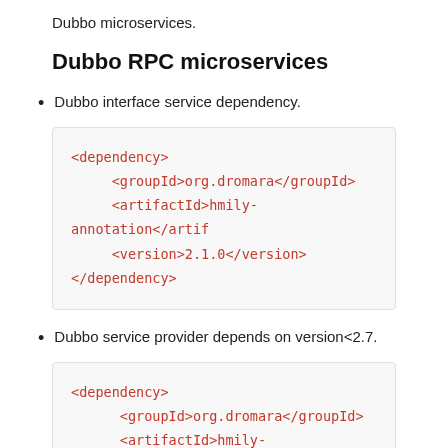Dubbo microservices.
Dubbo RPC microservices
Dubbo interface service dependency.
<dependency>
    <groupId>org.dromara</groupId>
    <artifactId>hmily-annotation</artifactId>
    <version>2.1.0</version>
</dependency>
Dubbo service provider depends on version<2.7.
<dependency>
    <groupId>org.dromara</groupId>
    <artifactId>hmily-dubbo</artifactId>